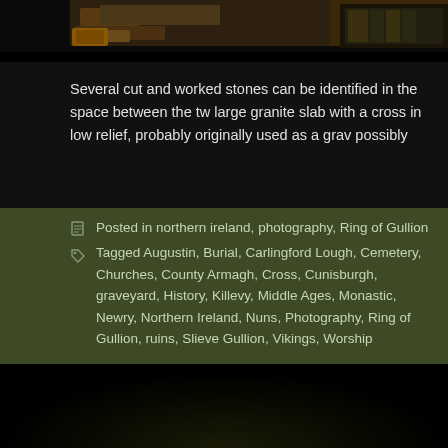[Figure (photo): Partial view of archaeological stone ruins photo strip at the top of the page, showing worked stones and dark earthy tones]
Several cut and worked stones can be identified in the space between the tw large granite slab with a cross in low relief, probably originally used as a grav possibly dating from the 12th or 13th centuries.
Posted in northern ireland, photography, Ring of Gullion
Tagged Augustin, Burial, Carlingford Lough, Cemetery, Churches, County Armagh, Cross, Cunisburgh, graveyard, History, Killevy, Middle Ages, Monastic, Newry, Northern Ireland, Nuns, Photography, Ring of Gullion, ruins, Slieve Gullion, Vikings, Worship